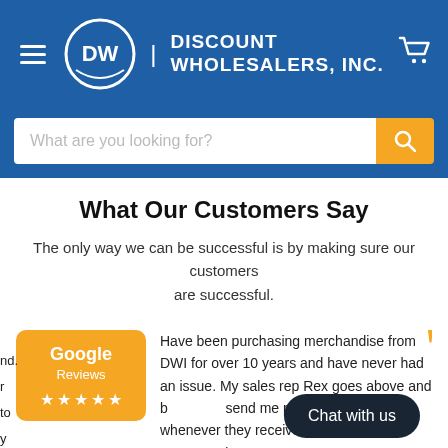[Figure (logo): Discount Wholesalers, Inc. header with DW logo, hamburger menu, and cart icon on blue background]
[Figure (screenshot): Search bar with placeholder 'What are you looking for?' and orange search button]
What Our Customers Say
The only way we can be successful is by making sure our customers are successful.
[Figure (logo): Google Reviews badge with orange background and 5 gold stars]
Have been purchasing merchandise from DWI for over 10 years and have never had an issue. My sales rep Rex goes above and b... send me pictures and vi... whenever they receive n... Great service!
[Figure (screenshot): Chat with us dark rounded button overlay]